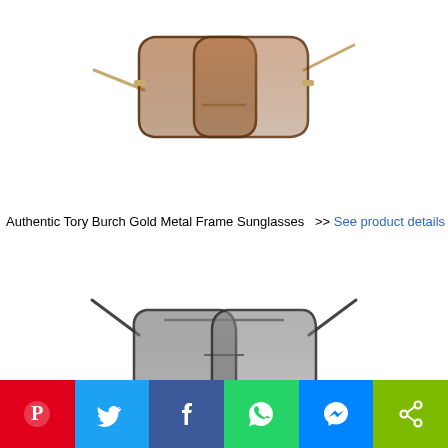[Figure (photo): Authentic Tory Burch gold metal frame sunglasses with brown gradient oversized square lenses, top view]
Authentic Tory Burch Gold Metal Frame Sunglasses  >>  See product details
[Figure (photo): Dark metal frame cat-eye style sunglasses with grey gradient lenses, front view]
Pinterest | Twitter | Facebook | WhatsApp | Messenger | Share